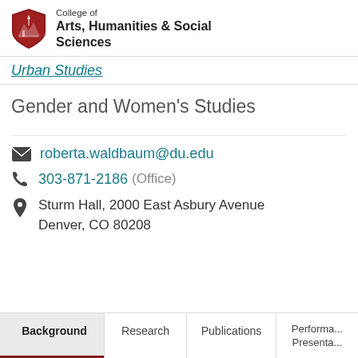College of Arts, Humanities & Social Sciences
Urban Studies
Gender and Women's Studies
roberta.waldbaum@du.edu
303-871-2186 (Office)
Sturm Hall, 2000 East Asbury Avenue Denver, CO 80208
Background | Research | Publications | Performa... Presenta...